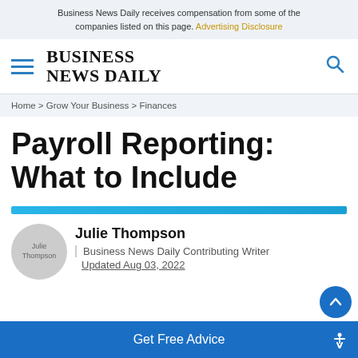Business News Daily receives compensation from some of the companies listed on this page. Advertising Disclosure
[Figure (logo): Business News Daily logo with hamburger menu icon and search icon]
Home > Grow Your Business > Finances
Payroll Reporting: What to Include
Julie Thompson
Business News Daily Contributing Writer Updated Aug 03, 2022
Get Free Advice